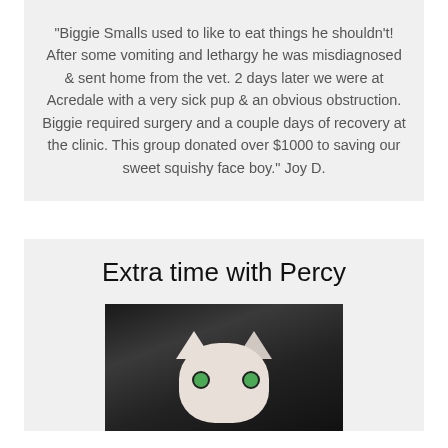"Biggie Smalls used to like to eat things he shouldn't! After some vomiting and lethargy he was misdiagnosed & sent home from the vet. 2 days later we were at Acredale with a very sick pup & an obvious obstruction. Biggie required surgery and a couple days of recovery at the clinic. This group donated over $1000 to saving our sweet squishy face boy." Joy D.
Extra time with Percy
[Figure (photo): A cat, appearing to be a white and grey tabby, looking upward with green eyes. The photo is dark with the cat's face visible in the lower center portion of the image.]